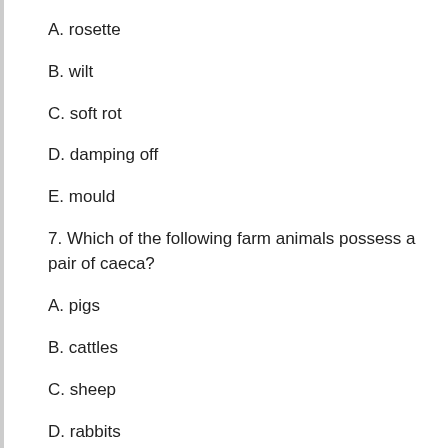A. rosette
B. wilt
C. soft rot
D. damping off
E. mould
7. Which of the following farm animals possess a pair of caeca?
A. pigs
B. cattles
C. sheep
D. rabbits